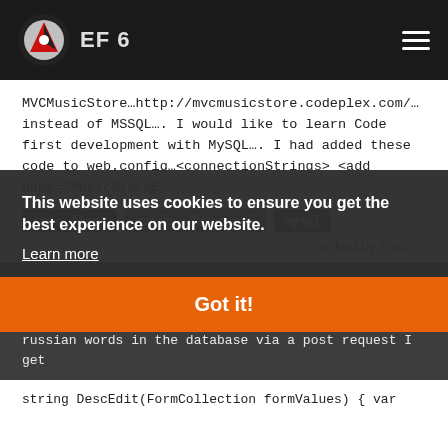EF 6
MVCMusicStore…http://mvcmusicstore.codeplex.com/… instead of MSSQL…. I would like to learn Code first development with MySQL…. I had added these code to web.config…<connectionStrings> <add name="MusicStoreE…
code-first
entity-framework
mysql
asked by Dauren
This website uses cookies to ensure you get the best experience on our website.
Learn more
… Entity Framework C# Insert Data
I'm using an EDM model in my project….When I insert russian words in the database via a post request I get
Got it!
string DescEdit(FormCollection formValues) { var